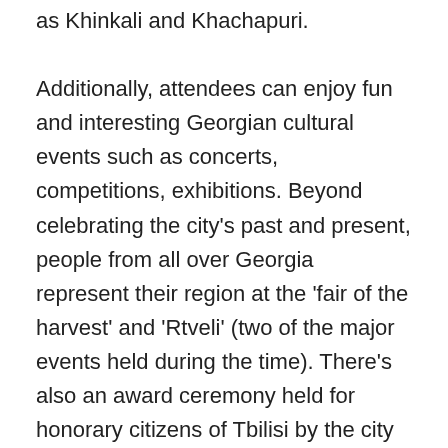as Khinkali and Khachapuri. Additionally, attendees can enjoy fun and interesting Georgian cultural events such as concerts, competitions, exhibitions. Beyond celebrating the city’s past and present, people from all over Georgia represent their region at the ‘fair of the harvest’ and ‘Rtveli’ (two of the major events held during the time). There’s also an award ceremony held for honorary citizens of Tbilisi by the city government.
Of course, the Tbilisoba celebration attractions would not be complete without their flea markets. Exploring the flea market you’ll come across many start-up businesses present promoting their new and innovative products to the public. The celebrations give them a great opportunity to promote themselves to thousands of people as they gather